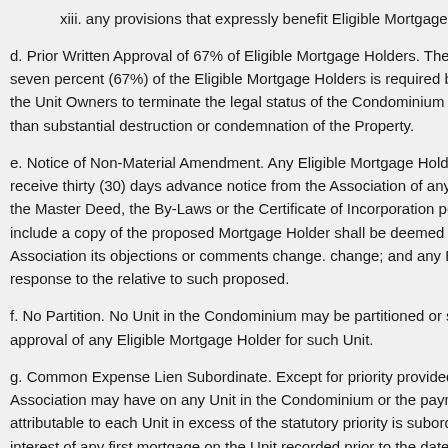xiii. any provisions that expressly benefit Eligible Mortgage Holders.
d. Prior Written Approval of 67% of Eligible Mortgage Holders. The prior written approval of sixty-seven percent (67%) of the Eligible Mortgage Holders is required before the effectuation of decisions by the Unit Owners to terminate the legal status of the Condominium as a Condominium for reasons other than substantial destruction or condemnation of the Property.
e. Notice of Non-Material Amendment. Any Eligible Mortgage Holder who requests in writing will receive thirty (30) days advance notice from the Association of any proposed amendment or change to the Master Deed, the By-Laws or the Certificate of Incorporation permitted by this Declaration and shall include a copy of the proposed Mortgage Holder shall be deemed to have as provided a response to the Association its objections or comments change. change; and any Eligible implicitly approved without response to the relative to such proposed.
f. No Partition. No Unit in the Condominium may be partitioned or subdivided without the prior approval of any Eligible Mortgage Holder for such Unit.
g. Common Expense Lien Subordinate. Except for priority provided by law to the Association may have on any Unit in the Condominium or the payment of Common Expenses attributable to each Unit in excess of the statutory priority is subordinate to the lien or security interest of any first mortgage on the Unit recorded prior to the date any such